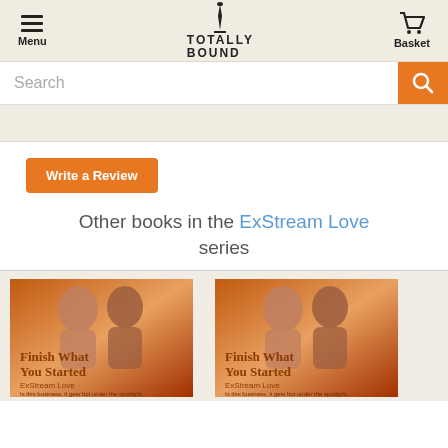Menu | TOTALLY BOUND | Basket
Search
Write a Review
Other books in the ExStream Love series
[Figure (photo): Book cover for 'Finish What You Started' by ExStream Love, showing a man and woman in an intimate pose with warm tones]
[Figure (photo): Book cover for 'Finish What You Started' by ExStream Love, showing a man and woman in an intimate pose with warm tones (duplicate)]